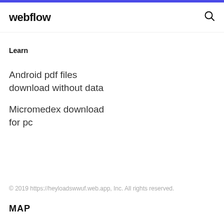webflow
Learn
Android pdf files download without data
Micromedex download for pc
© 2019 https://heyloadswwuf.web.app, Inc. All rights reserved.
MAP